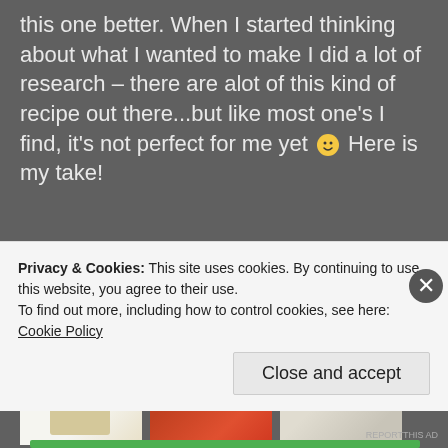this one better. When I started thinking about what I wanted to make I did a lot of research – there are alot of this kind of recipe out there...but like most one's I find, it's not perfect for me yet 🙂 Here is my take!
Advertisements
What you will need:
[Figure (photo): Three food ingredient photos side by side: a bowl/ingredients photo, red tomatoes, and white containers/jars]
Privacy & Cookies: This site uses cookies. By continuing to use this website, you agree to their use.
To find out more, including how to control cookies, see here: Cookie Policy
Close and accept